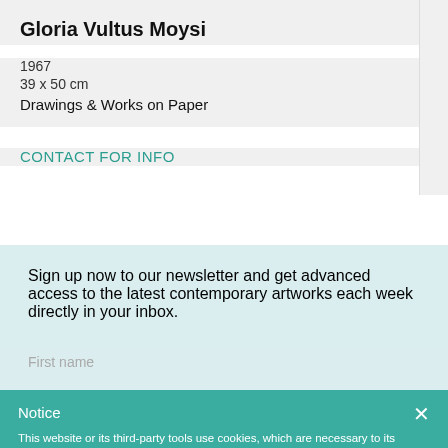Gloria Vultus Moysi
1967
39 x 50 cm
Drawings & Works on Paper
CONTACT FOR INFO
Sign up now to our newsletter and get advanced access to the latest contemporary artworks each week directly in your inbox.
Notice
This website or its third-party tools use cookies, which are necessary to its functioning and required to achieve the purposes illustrated in the cookie policy. If you want to know more or withdraw your consent to all or some of the cookies, please refer to the cookie policy. By closing this banner, scrolling this page, clicking a link or continuing to browse otherwise, you agree to the use of cookies.
BUY NOW